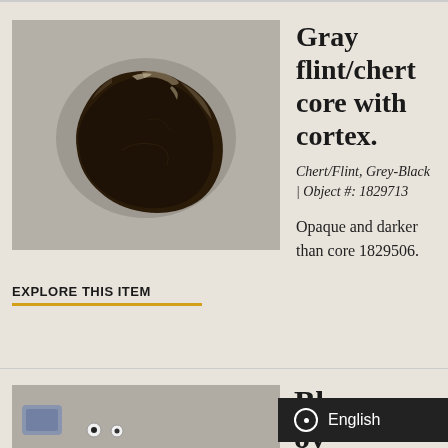[Figure (photo): Photograph of a dark gray/black flint/chert core stone with cortex, shown on a light gray background]
Gray flint/chert core with cortex.
Chert/Flint, Grey-Black | Object #: 1829713
Opaque and darker than core 1829506.
EXPLORE THIS ITEM
[Figure (photo): Partial photograph of another artifact item, partially obscured by a language selector overlay showing English]
Bl...